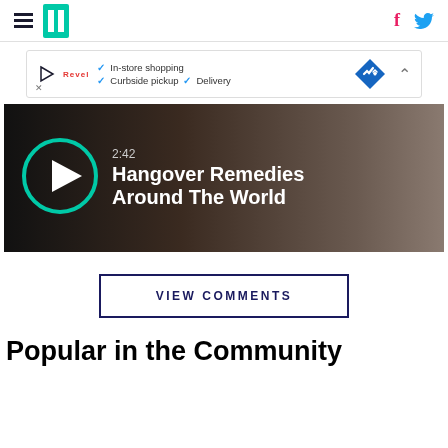HuffPost navigation with hamburger menu, logo, Facebook and Twitter icons
[Figure (screenshot): Ad banner: In-store shopping, Curbside pickup, Delivery with blue diamond navigation icon]
[Figure (screenshot): Video thumbnail: 2:42 Hangover Remedies Around The World with teal play button circle]
VIEW COMMENTS
Popular in the Community